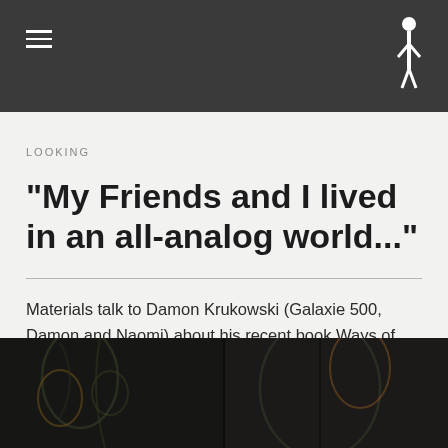≡  [logo figure]
LOOKING
"My Friends and I lived in an all-analog world..."
Materials talk to Damon Krukowski (Galaxie 500, Damon and Naomi) about his recent book Ways of Hearing.
[Figure (photo): Dark photograph showing stained glass window with floral/leaf motifs in dark setting]